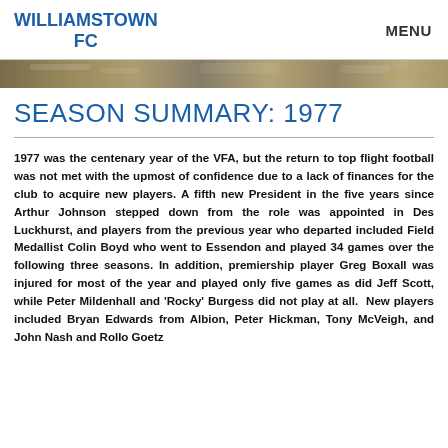WILLIAMSTOWN FC   MENU
[Figure (photo): Banner photograph of a football match crowd/ground scene]
SEASON SUMMARY: 1977
1977 was the centenary year of the VFA, but the return to top flight football was not met with the upmost of confidence due to a lack of finances for the club to acquire new players. A fifth new President in the five years since Arthur Johnson stepped down from the role was appointed in Des Luckhurst, and players from the previous year who departed included Field Medallist Colin Boyd who went to Essendon and played 34 games over the following three seasons. In addition, premiership player Greg Boxall was injured for most of the year and played only five games as did Jeff Scott, while Peter Mildenhall and 'Rocky' Burgess did not play at all. New players included Bryan Edwards from Albion, Peter Hickman, Tony McVeigh, and John Nash and Rollo Goetz